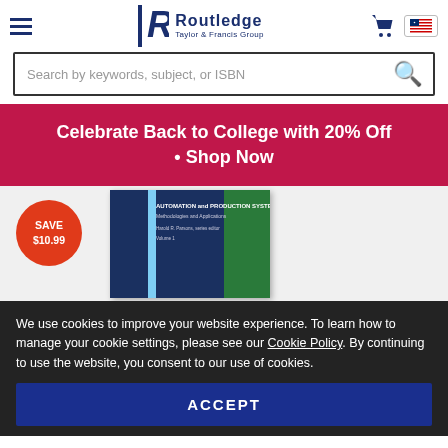Routledge Taylor & Francis Group
Search by keywords, subject, or ISBN
Celebrate Back to College with 20% Off • Shop Now
[Figure (photo): Book cover for Automation and Production Systems: Methodologies and Applications with a SAVE $10.99 badge]
We use cookies to improve your website experience. To learn how to manage your cookie settings, please see our Cookie Policy. By continuing to use the website, you consent to our use of cookies.
ACCEPT